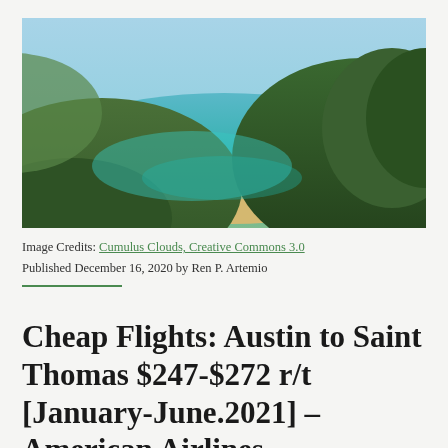[Figure (photo): Aerial photo of a tropical island with lush green hills, turquoise bay waters, a sandy beach, and blue sky in the background — likely Saint Thomas, US Virgin Islands.]
Image Credits: Cumulus Clouds, Creative Commons 3.0
Published December 16, 2020 by Ren P. Artemio
Cheap Flights: Austin to Saint Thomas $247-$272 r/t [January-June.2021] – American Airlines